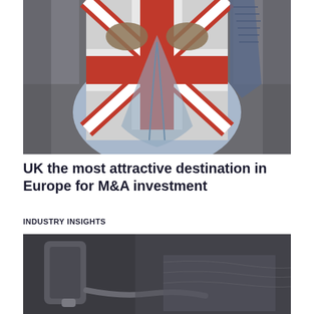[Figure (photo): Person in suit opening shirt to reveal Union Jack flag underneath, symbolizing UK identity in business context]
UK the most attractive destination in Europe for M&A investment
INDUSTRY INSIGHTS
[Figure (photo): Close-up photo of what appears to be medical or industrial equipment in dark tones]